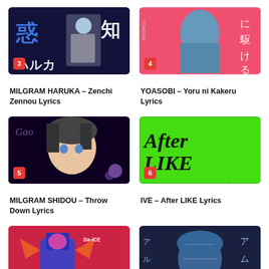[Figure (screenshot): Thumbnail for MILGRAM HARUKA – Zenchi Zennou Lyrics, numbered 3, dark blue anime artwork with Japanese characters]
MILGRAM HARUKA – Zenchi Zennou Lyrics
[Figure (screenshot): Thumbnail for YOASOBI – Yoru ni Kakeru Lyrics, numbered 4, red/pink anime art with Japanese characters]
YOASOBI – Yoru ni Kakeru Lyrics
[Figure (screenshot): Thumbnail for MILGRAM SHIDOU – Throw Down Lyrics, numbered 5, dark anime character with flowers]
MILGRAM SHIDOU – Throw Down Lyrics
[Figure (screenshot): Thumbnail for IVE – After LIKE Lyrics, numbered 6, bright green background with After LIKE text]
IVE – After LIKE Lyrics
[Figure (screenshot): Thumbnail numbered 7, red background with Da-iCE Promise artwork]
[Figure (screenshot): Thumbnail numbered 8, dark blue/teal anime illustration with Japanese characters]